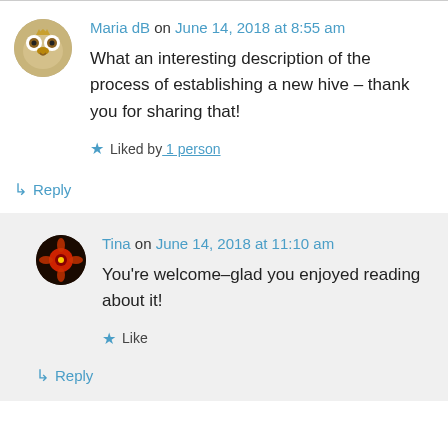Maria dB on June 14, 2018 at 8:55 am
What an interesting description of the process of establishing a new hive – thank you for sharing that!
★ Liked by 1 person
↳ Reply
Tina on June 14, 2018 at 11:10 am
You're welcome–glad you enjoyed reading about it!
★ Like
↳ Reply